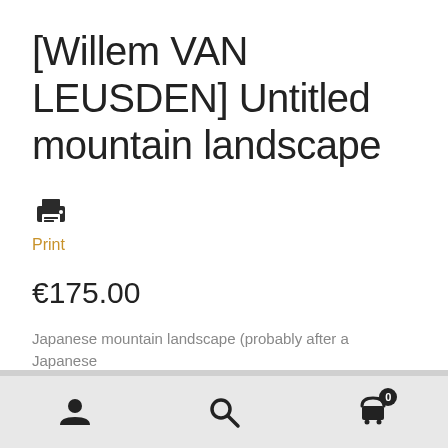[Willem VAN LEUSDEN] Untitled mountain landscape
[Figure (other): Print icon (printer symbol) with orange label 'Print' below]
€175.00
Japanese mountain landscape (probably after a Japanese
[Figure (other): Bottom navigation bar with user/account icon, search icon, and shopping cart icon with badge showing 0]